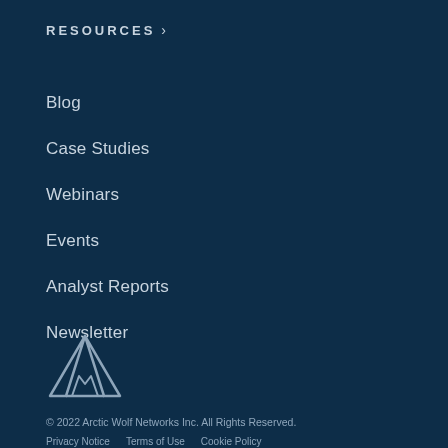RESOURCES ›
Blog
Case Studies
Webinars
Events
Analyst Reports
Newsletter
[Figure (logo): Arctic Wolf Networks logo — stylized mountain/wolf outline in light grey on dark navy background]
© 2022 Arctic Wolf Networks Inc. All Rights Reserved.
Privacy Notice    Terms of Use    Cookie Policy
Customer Portal Policy    Accessibility Statement
Information Security    Cookies Settings